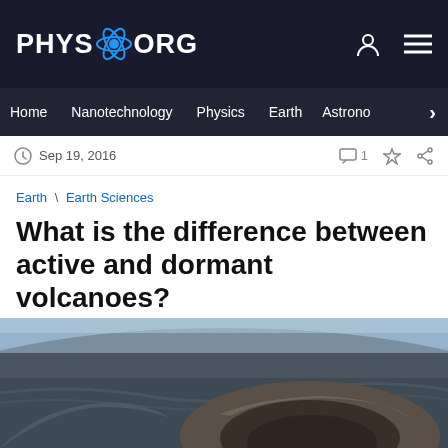PHYS.ORG
Home | Nanotechnology | Physics | Earth | Astronomy >
Sep 19, 2016  1
Earth \ Earth Sciences
What is the difference between active and dormant volcanoes?
by Matt Williams , Universe Today
[Figure (photo): Aerial photograph of a dormant volcanic crater in an arid landscape, showing a large bowl-shaped depression with rocky rim and surrounding dark volcanic terrain.]